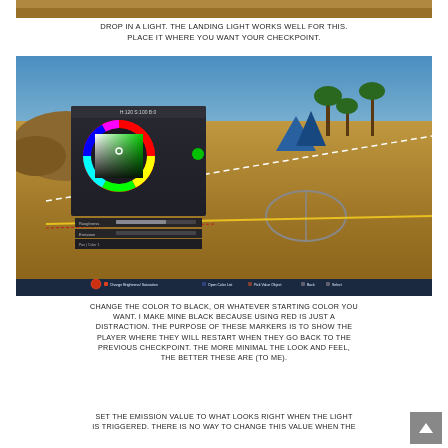[Figure (screenshot): Partial top of a video game screenshot showing sandy terrain]
DROP IN A LIGHT. THE LANDING LIGHT WORKS WELL FOR THIS. PLACE IT WHERE YOU WANT YOUR CHECKPOINT.
[Figure (screenshot): Video game editor screenshot showing a color picker (hue/saturation wheel with green selected), properties panel with Roughness and Emission sliders, a desert landscape with palm trees and a circular checkpoint marker, and a bottom HUD with controls: Change Brightness/Saturation, Open Color List, Pick Value Object, Back, Select]
CHANGE THE COLOR TO BLACK, OR WHATEVER STARTING COLOR YOU WANT. I MAKE MINE BLACK BECAUSE USING RED IS JUST A DISTRACTION. THE PURPOSE OF THESE MARKERS IS TO SHOW THE PLAYER WHERE THEY WILL RESTART WHEN THEY GO BACK TO THE PREVIOUS CHECKPOINT. THE MORE MINIMAL THE LOOK AND FEEL, THE BETTER THESE ARE (TO ME).
SET THE EMISSION VALUE TO WHAT LOOKS RIGHT WHEN THE LIGHT IS TRIGGERED. THERE IS NO WAY TO CHANGE THIS VALUE WHEN THE